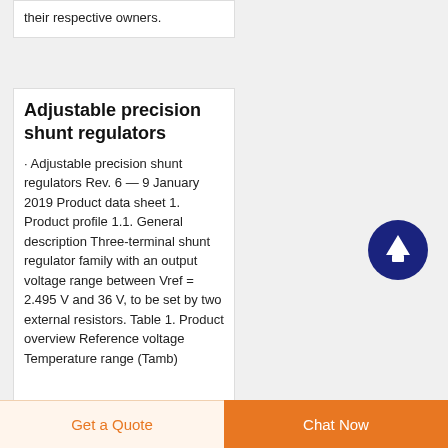their respective owners.
Adjustable precision shunt regulators
· Adjustable precision shunt regulators Rev. 6 — 9 January 2019 Product data sheet 1. Product profile 1.1. General description Three-terminal shunt regulator family with an output voltage range between Vref = 2.495 V and 36 V, to be set by two external resistors. Table 1. Product overview Reference voltage Temperature range (Tamb)
[Figure (other): Dark blue circular scroll-to-top button with upward arrow icon]
Get a Quote
Chat Now